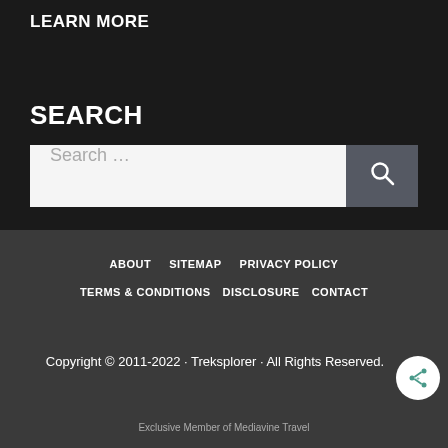LEARN MORE
SEARCH
Search ...
ABOUT  SITEMAP  PRIVACY POLICY  TERMS & CONDITIONS  DISCLOSURE  CONTACT
Copyright © 2011-2022 · Treksplorer · All Rights Reserved.
Exclusive Member of Mediavine Travel